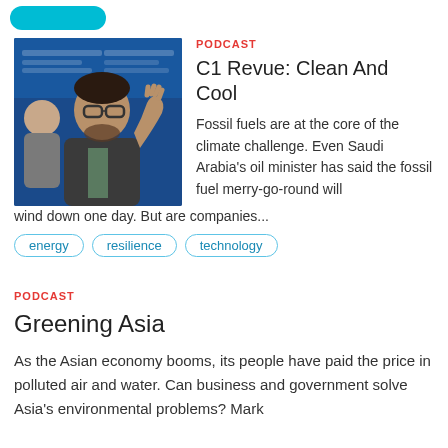[Figure (photo): Photo of a man with glasses and beard, gesturing with his hand at a panel event. Blue banner background visible.]
PODCAST
C1 Revue: Clean And Cool
Fossil fuels are at the core of the climate challenge. Even Saudi Arabia's oil minister has said the fossil fuel merry-go-round will wind down one day. But are companies...
energy
resilience
technology
PODCAST
Greening Asia
As the Asian economy booms, its people have paid the price in polluted air and water. Can business and government solve Asia's environmental problems? Mark